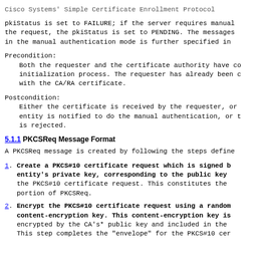Cisco Systems' Simple Certificate Enrollment Protocol
pkiStatus is set to FAILURE; if the server requires manual the request, the pkiStatus is set to PENDING. The messages in the manual authentication mode is further specified in
Precondition:
   Both the requester and the certificate authority have co initialization process. The requester has already been c with the CA/RA certificate.
Postcondition:
   Either the certificate is received by the requester, or entity is notified to do the manual authentication, or t is rejected.
5.1.1 PKCSReq Message Format
A PKCSReq message is created by following the steps define
1. Create a PKCS#10 certificate request which is signed b entity's private key, corresponding to the public key the PKCS#10 certificate request. This constitutes the portion of PKCSReq.
2. Encrypt the PKCS#10 certificate request using a random content-encryption key. This content-encryption key is encrypted by the CA's* public key and included in the This step completes the "envelope" for the PKCS#10 cer